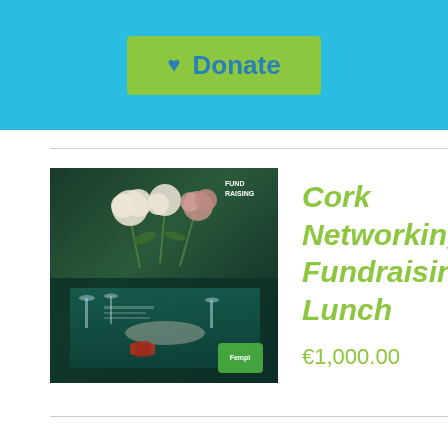[Figure (screenshot): Cyan/blue header bar with a green Donate button featuring a blue heart icon and the text 'Donate' in bold blue]
[Figure (photo): Event promotional image showing a formal dining table with flowers, glasses, and place settings in a dark green/teal color scheme with text overlay]
Cork Networking Fundraising Lunch
€1,000.00